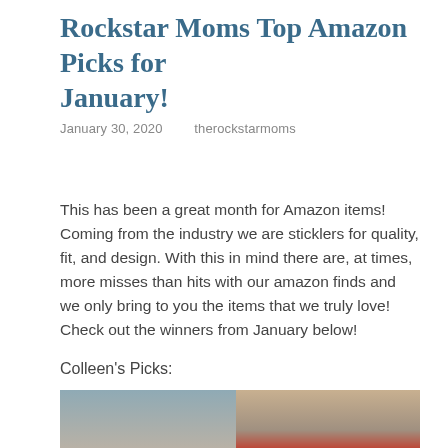Rockstar Moms Top Amazon Picks for January!
January 30, 2020   therockstarmoms
This has been a great month for Amazon items! Coming from the industry we are sticklers for quality, fit, and design. With this in mind there are, at times, more misses than hits with our amazon finds and we only bring to you the items that we truly love! Check out the winners from January below!
Colleen's Picks:
[Figure (photo): Two photos side by side: left shows a woman taking a selfie in a mirror wearing a white turtleneck sweater; right shows a person wearing a red/black plaid flannel top and grey jogger shorts.]